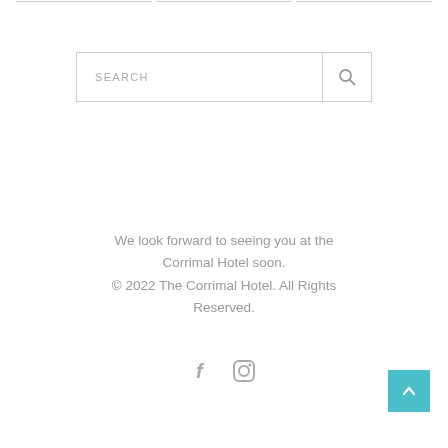[Figure (screenshot): Search bar with text input area labeled SEARCH and a search icon button on the right]
We look forward to seeing you at the Corrimal Hotel soon.
© 2022 The Corrimal Hotel. All Rights Reserved.
[Figure (other): Social media icons: Facebook (f) and Instagram (camera) icons]
[Figure (other): Teal back-to-top button with upward arrow chevron]